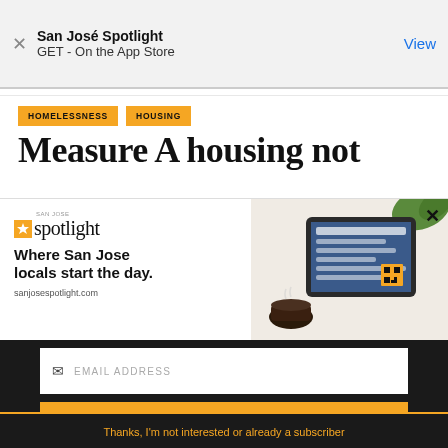San José Spotlight
GET - On the App Store
View
HOMELESSNESS
HOUSING
Measure A housing not
[Figure (advertisement): San Jose Spotlight advertisement showing logo, tagline 'Where San Jose locals start the day.' and image of a tablet and coffee cup. URL: sanjosespotlight.com]
EMAIL ADDRESS
SUBSCRIBE
Thanks, I'm not interested or already a subscriber